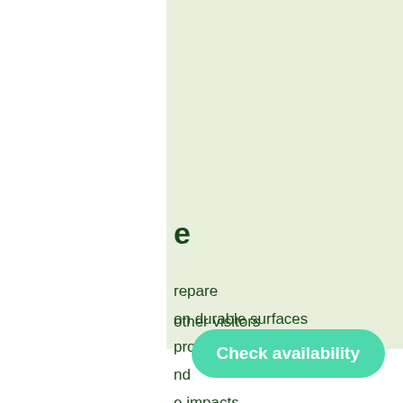e
repare
on durable surfaces
properly
nd
e impacts
other visitors
Check availability